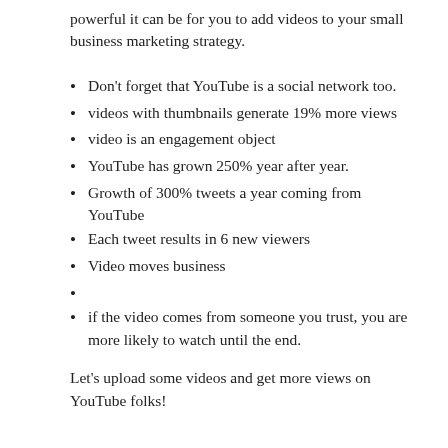powerful it can be for you to add videos to your small business marketing strategy.
Don't forget that YouTube is a social network too.
videos with thumbnails generate 19% more views
video is an engagement object
YouTube has grown 250% year after year.
Growth of 300% tweets a year coming from YouTube
Each tweet results in 6 new viewers
Video moves business
if the video comes from someone you trust, you are more likely to watch until the end.
Let's upload some videos and get more views on YouTube folks!
JUNE 20, 2011
How often should I post to Social Media?